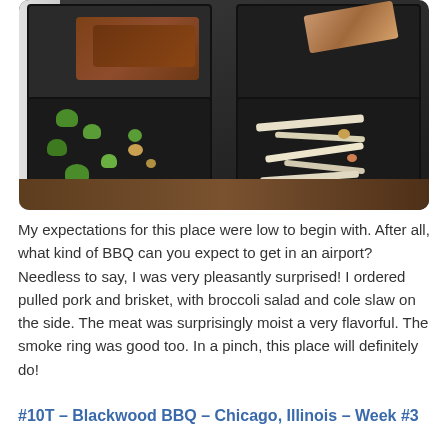[Figure (photo): A black segmented food tray containing pulled pork and brisket BBQ in the top section, broccoli salad in the bottom-left compartment, and coleslaw in the bottom-right compartment, resting on a wooden surface.]
My expectations for this place were low to begin with. After all, what kind of BBQ can you expect to get in an airport? Needless to say, I was very pleasantly surprised! I ordered pulled pork and brisket, with broccoli salad and cole slaw on the side. The meat was surprisingly moist a very flavorful. The smoke ring was good too. In a pinch, this place will definitely do!
#10T – Blackwood BBQ – Chicago, Illinois – Week #3